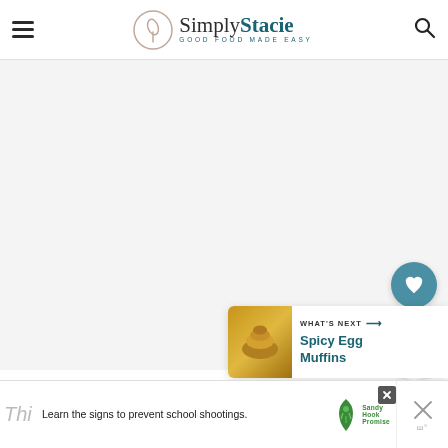Simply Stacie — Good Food Made Easy
[Figure (photo): Large main content image area (blank/loading), with overlaid social sharing widgets: heart/like button showing 326K, and a share button. A 'What's Next' panel shows Spicy Egg Muffins.]
326K
WHAT'S NEXT → Spicy Egg Muffins
[Figure (photo): Sandy Hook Promise advertisement banner: 'Learn the signs to prevent school shootings.' with Sandy Hook Promise logo and tree graphic.]
Learn the signs to prevent school shootings.